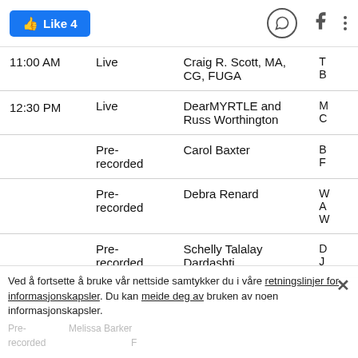[Figure (screenshot): Top action bar with Like 4 button (blue), WhatsApp icon, Facebook icon, and three-dots menu icon]
| Time | Type | Name | Extra |
| --- | --- | --- | --- |
| 11:00 AM | Live | Craig R. Scott, MA, CG, FUGA | T... B... |
| 12:30 PM | Live | DearMYRTLE and Russ Worthington | M... C... |
|  | Pre-recorded | Carol Baxter | B... F... |
|  | Pre-recorded | Debra Renard | W... A... W... |
|  | Pre-recorded | Schelly Talalay Dardashti | D... J... |
Ved å fortsette å bruke vår nettside samtykker du i våre retningslinjer for informasjonskapsler. Du kan meide deg av bruken av noen informasjonskapsler.